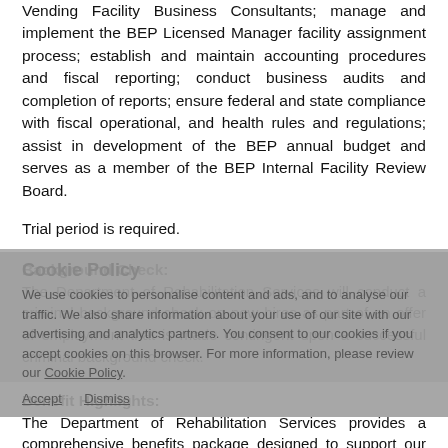Vending Facility Business Consultants; manage and implement the BEP Licensed Manager facility assignment process; establish and maintain accounting procedures and fiscal reporting; conduct business audits and completion of reports; ensure federal and state compliance with fiscal operational, and health rules and regulations; assist in development of the BEP annual budget and serves as a member of the BEP Internal Facility Review Board.
Trial period is required.
Background Check:
The Department of Rehabilitation Services will conduct a criminal background check on new hires as part of an offer of employment that is made contingent upon a successful criminal background check.
Benefit Highlights:
The Department of Rehabilitation Services provides a comprehensive benefits package designed to support our employees and their dependents.